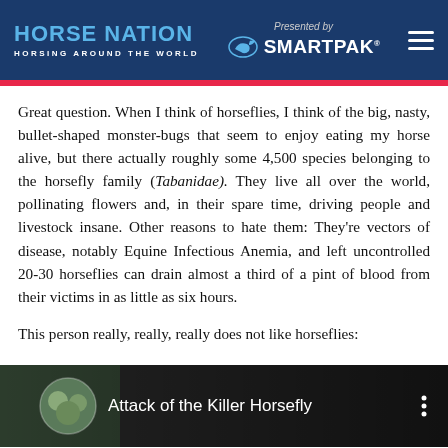HORSE NATION — HORSING AROUND THE WORLD | Presented by SmartPak
Great question. When I think of horseflies, I think of the big, nasty, bullet-shaped monster-bugs that seem to enjoy eating my horse alive, but there actually roughly some 4,500 species belonging to the horsefly family (Tabanidae). They live all over the world, pollinating flowers and, in their spare time, driving people and livestock insane. Other reasons to hate them: They're vectors of disease, notably Equine Infectious Anemia, and left uncontrolled 20-30 horseflies can drain almost a third of a pint of blood from their victims in as little as six hours.
This person really, really, really does not like horseflies:
[Figure (screenshot): Video thumbnail showing 'Attack of the Killer Horsefly' with a circular avatar image of people and a three-dot menu icon on dark background]